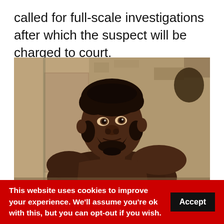called for full-scale investigations after which the suspect will be charged to court.
[Figure (photo): A shirtless young man with a beard sitting in front of a rough stone or mud wall, photographed outdoors.]
This website uses cookies to improve your experience. We'll assume you're ok with this, but you can opt-out if you wish. Accept